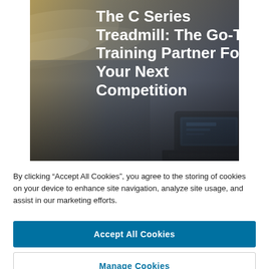[Figure (photo): Hero image of a treadmill console/display in a dark, atmospheric background with golden/warm light on the left and dark gray tones on the right. White bold text overlay reads 'The C Series Treadmill: The Go-To Training Partner For Your Next Competition'.]
The C Series Treadmill: The Go-To Training Partner For Your Next Competition
By clicking “Accept All Cookies”, you agree to the storing of cookies on your device to enhance site navigation, analyze site usage, and assist in our marketing efforts.
Accept All Cookies
Manage Cookies